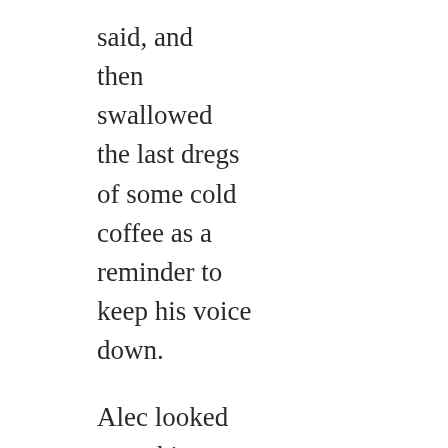said, and then swallowed the last dregs of some cold coffee as a reminder to keep his voice down.

Alec looked up at him then, absolutely piercing him